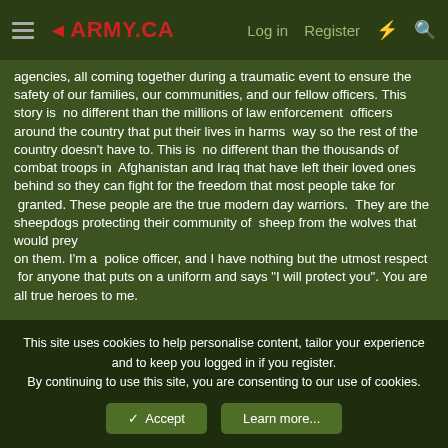≡ ◄ARMY.CA   Log in   Register   ⚡   🔍
agencies, all coming together during a traumatic event to ensure the safety of our families, our communities, and our fellow officers. This story is  no different than the millions of law enforcement  officers around the country that put their lives in harms  way so the rest of the country doesn't have to. This is  no different than the thousands of combat troops in  Afghanistan and Iraq that have left their loved ones behind so they can fight for the freedom that most people take for  granted. These people are the true modern day warriors.  They are the sheepdogs protecting their community of  sheep from the wolves that would prey on them. I'm a  police officer, and I have nothing but the utmost respect  for anyone that puts on a uniform and says "I will protect you". You are all true heroes to me.
This site uses cookies to help personalise content, tailor your experience and to keep you logged in if you register.
By continuing to use this site, you are consenting to our use of cookies.
✓ Accept
Learn more...